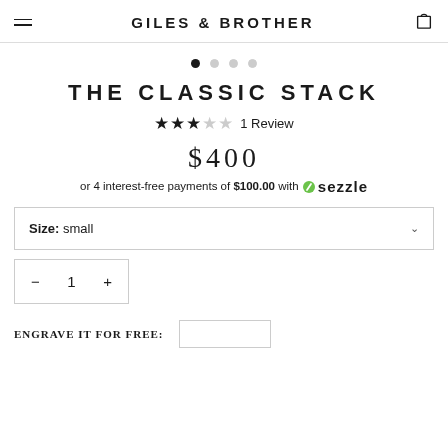GILES & BROTHER
[Figure (other): Carousel navigation dots — 4 dots, first filled/active, rest empty]
THE CLASSIC STACK
★★★☆☆  1 Review
$400
or 4 interest-free payments of $100.00 with ⓢ sezzle
Size: small
− 1 +
ENGRAVE IT FOR FREE: